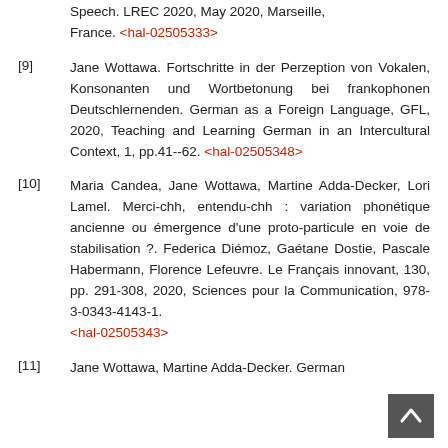Speech. LREC 2020, May 2020, Marseille, France. <hal-02505333>
[9] Jane Wottawa. Fortschritte in der Perzeption von Vokalen, Konsonanten und Wortbetonung bei frankophonen Deutschlernenden. German as a Foreign Language, GFL, 2020, Teaching and Learning German in an Intercultural Context, 1, pp.41--62. <hal-02505348>
[10] Maria Candea, Jane Wottawa, Martine Adda-Decker, Lori Lamel. Merci-chh, entendu-chh : variation phonétique ancienne ou émergence d'une proto-particule en voie de stabilisation ?. Federica Diémoz, Gaétane Dostie, Pascale Habermann, Florence Lefeuvre. Le Français innovant, 130, pp. 291-308, 2020, Sciences pour la Communication, 978-3-0343-4143-1. <hal-02505343>
[11] Jane Wottawa, Martine Adda-Decker. German